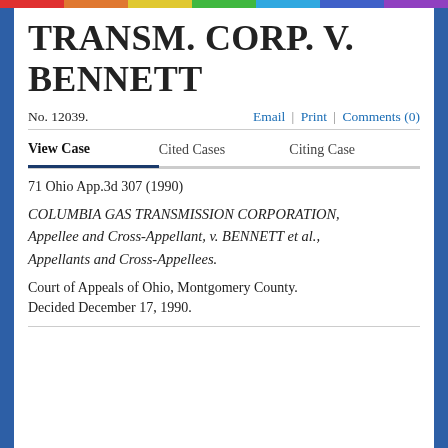TRANSM. CORP. V. BENNETT
No. 12039.
Email | Print | Comments (0)
View Case	Cited Cases	Citing Case
71 Ohio App.3d 307 (1990)
COLUMBIA GAS TRANSMISSION CORPORATION, Appellee and Cross-Appellant, v. BENNETT et al., Appellants and Cross-Appellees.
Court of Appeals of Ohio, Montgomery County.
Decided December 17, 1990.